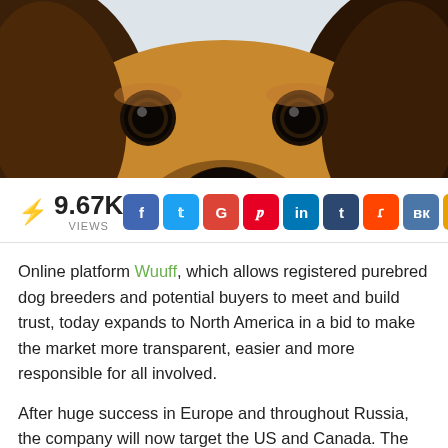[Figure (photo): Close-up photo of a dog's face peering over an edge, showing forehead, eyes, and floppy ears against a light background]
⚡ 9.67K VIEWS
[Figure (infographic): Row of social media share buttons: Facebook, Twitter, Google+, Pinterest, LinkedIn, Tumblr, Reddit, VK, Email]
Online platform Wuuff, which allows registered purebred dog breeders and potential buyers to meet and build trust, today expands to North America in a bid to make the market more transparent, easier and more responsible for all involved.
After huge success in Europe and throughout Russia, the company will now target the US and Canada. The abundance of information on the site will make buying or